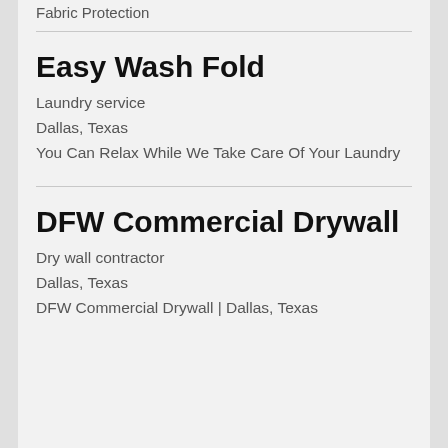Fabric Protection
Easy Wash Fold
Laundry service
Dallas, Texas
You Can Relax While We Take Care Of Your Laundry
DFW Commercial Drywall
Dry wall contractor
Dallas, Texas
DFW Commercial Drywall | Dallas, Texas